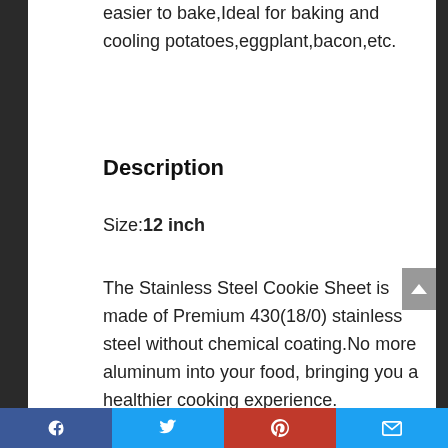easier to bake,Ideal for baking and cooling potatoes,eggplant,bacon,etc.
Description
Size:12 inch
The Stainless Steel Cookie Sheet is made of Premium 430(18/0) stainless steel without chemical coating.No more aluminum into your food, bringing you a healthier cooking experience.
Social share bar: Facebook, Twitter, Pinterest, Email